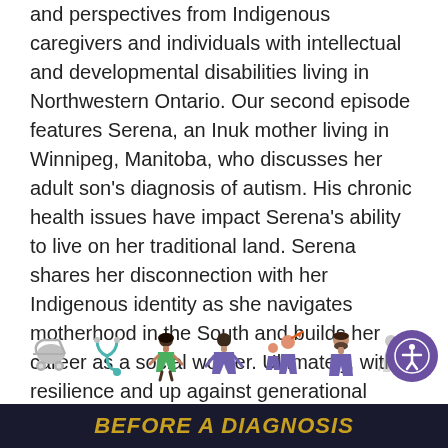and perspectives from Indigenous caregivers and individuals with intellectual and developmental disabilities living in Northwestern Ontario. Our second episode features Serena, an Inuk mother living in Winnipeg, Manitoba, who discusses her adult son's diagnosis of autism. His chronic health issues have impact Serena's ability to live on her traditional land. Serena shares her disconnection with her Indigenous identity as she navigates motherhood in the South and builds her career as a social worker. Ultimately, with resilience and up against generational trauma, Serena celebrates her reconnection with her traditional ways.
[Figure (illustration): A row of seven emoji-style icons representing various topics: a baby stroller (grey), a stethoscope (green/grey), a girl in a green dress, a person in purple, two figures with an upward arrow (growth), a bearded man in purple, and two elderly figures (grey/faded).]
[Figure (illustration): A circular purple accessibility button with a white accessibility icon (person with outstretched arms in a circle).]
BEFORE A DIAGNOSIS